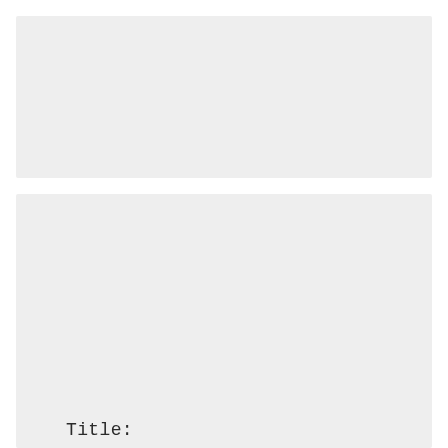[Figure (other): Empty light gray rectangle at top of page]
Title:
EM